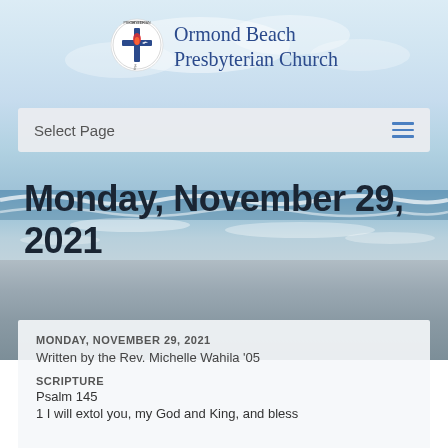[Figure (photo): Beach and ocean scene with sky, waves, and sandy shore forming the background of the webpage]
[Figure (logo): Presbyterian Church (USA) logo — circular seal with a cross, flame, and dove symbol in blue and red]
Ormond Beach Presbyterian Church
Select Page
Monday, November 29, 2021
MONDAY, NOVEMBER 29, 2021
Written by the Rev. Michelle Wahila '05
SCRIPTURE
Psalm 145
1 I will extol you, my God and King, and bless